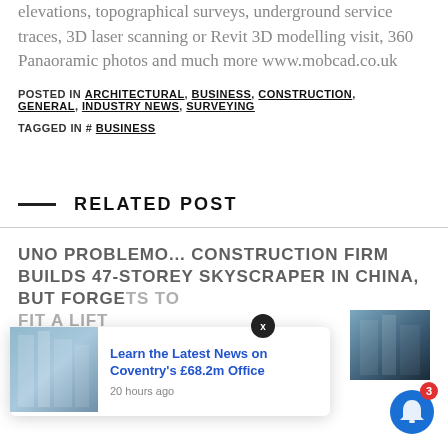elevations, topographical surveys, underground service traces, 3D laser scanning or Revit 3D modelling visit, 360 Panaoramic photos and much more www.mobcad.co.uk
POSTED IN ARCHITECTURAL, BUSINESS, CONSTRUCTION, GENERAL, INDUSTRY NEWS, SURVEYING
TAGGED IN # BUSINESS
RELATED POST
UNO PROBLEMO... CONSTRUCTION FIRM BUILDS 47-STOREY SKYSCRAPER IN CHINA, BUT FORGETS TO FIT A LIFT
[Figure (screenshot): Popup notification overlay showing news headline 'Learn the Latest News on Coventry's £68.2m Office' with building image, posted 20 hours ago, with an X close button]
[Figure (photo): Building/skyscraper photo thumbnail on the right side of the page]